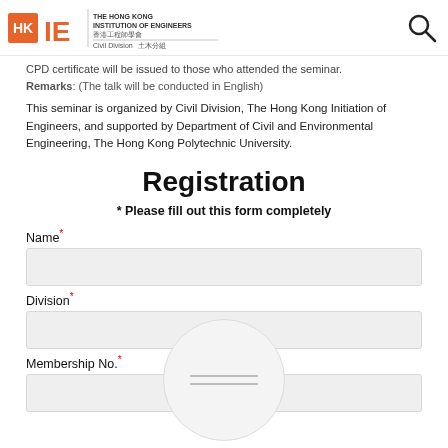HKIE - The Hong Kong Institution of Engineers, Civil Division
CPD certificate will be issued to those who attended the seminar.
Remarks: (The talk will be conducted in English)
This seminar is organized by Civil Division, The Hong Kong Initiation of Engineers, and supported by Department of Civil and Environmental Engineering, The Hong Kong Polytechnic University.
Registration
* Please fill out this form completely
Name*
Division*
Membership No.*
Mobile No.*